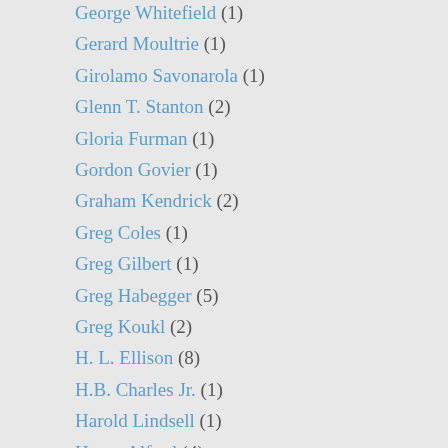George Whitefield (1)
Gerard Moultrie (1)
Girolamo Savonarola (1)
Glenn T. Stanton (2)
Gloria Furman (1)
Gordon Govier (1)
Graham Kendrick (2)
Greg Coles (1)
Greg Gilbert (1)
Greg Habegger (5)
Greg Koukl (2)
H. L. Ellison (8)
H.B. Charles Jr. (1)
Harold Lindsell (1)
Henry Alford (4)
Henry Baker (5)
Henry F. Lyte (1)
Henry Morris (2)
Heresy, False Religions, and Cults (21)
Herman Bavinck (3)
History (4)